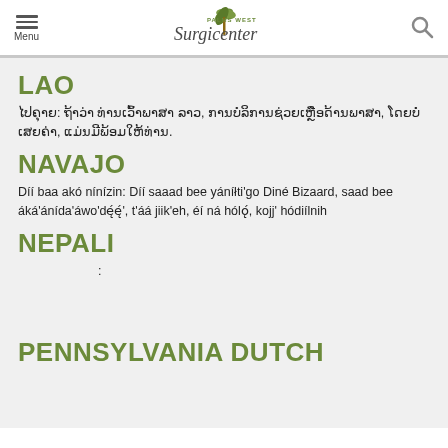Menu | Palms West Surgicenter
LAO
ໄປຄຸາຍ: ຖ້າວ່າ ທ່ານເວົ້າພາສາ ລາວ, ການບໍລິການຊ່ວຍເຫຼືອດ້ານພາສາ, ໂດຍບໍ່ເສຍຄ່າ, ແມ່ນມີພ້ອມໃຫ້ທ່ານ.
NAVAJO
Díí baa akó nínízin: Díí saaad bee yáníłti'go Diné Bizaard, saad bee áká'ánída'áwo'déę', t'áá jiik'eh, éí ná hólǫ́, kojj' hódiílnih
NEPALI
:
PENNSYLVANIA DUTCH